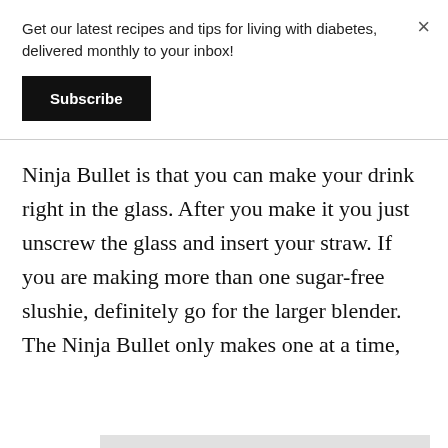Get our latest recipes and tips for living with diabetes, delivered monthly to your inbox!
Subscribe
Ninja Bullet is that you can make your drink right in the glass. After you make it you just unscrew the glass and insert your straw. If you are making more than one sugar-free slushie, definitely go for the larger blender. The Ninja Bullet only makes one at a time,
[Figure (other): Video placeholder overlay showing 'No compatible source was found for this media.' text with a close/X icon button]